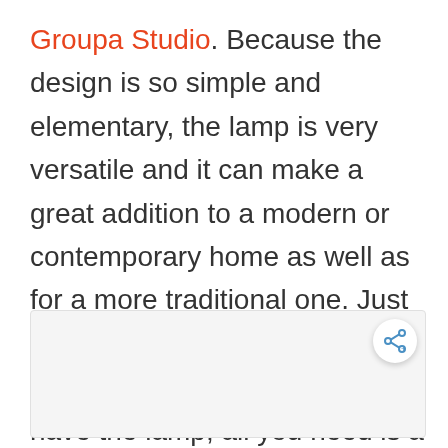Groupa Studio. Because the design is so simple and elementary, the lamp is very versatile and it can make a great addition to a modern or contemporary home as well as for a more traditional one. Just pick a corner and turn it into a reading space. You already have the lamp, all you need is a comfortable chair and a good book to read.
[Figure (other): Light gray placeholder rectangle with a share/social button (circular white button with share icon) in the upper right corner]